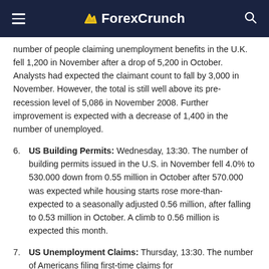ForexCrunch
number of people claiming unemployment benefits in the U.K. fell 1,200 in November after a drop of 5,200 in October. Analysts had expected the claimant count to fall by 3,000 in November. However, the total is still well above its pre-recession level of 5,086 in November 2008. Further improvement is expected with a decrease of 1,400 in the number of unemployed.
6. US Building Permits: Wednesday, 13:30. The number of building permits issued in the U.S. in November fell 4.0% to 530.000 down from 0.55 million in October after 570.000 was expected while housing starts rose more-than-expected to a seasonally adjusted 0.56 million, after falling to 0.53 million in October. A climb to 0.56 million is expected this month.
7. US Unemployment Claims: Thursday, 13:30. The number of Americans filing first-time claims for